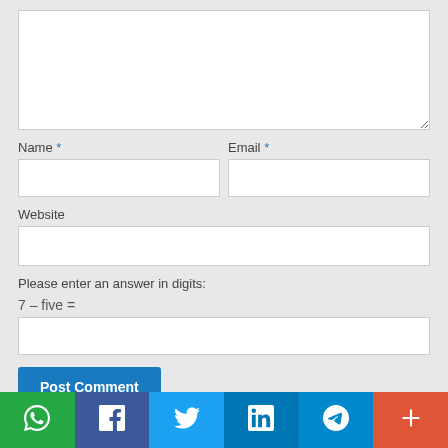[Figure (screenshot): Comment form with textarea, Name and Email fields, Website field, CAPTCHA math question (7 - five =), answer input, and Post Comment button]
[Figure (infographic): Social sharing bar with WhatsApp (green), Facebook (dark blue), Twitter (light blue), LinkedIn (blue), Telegram (cyan), and More/Plus (orange-red) icons]